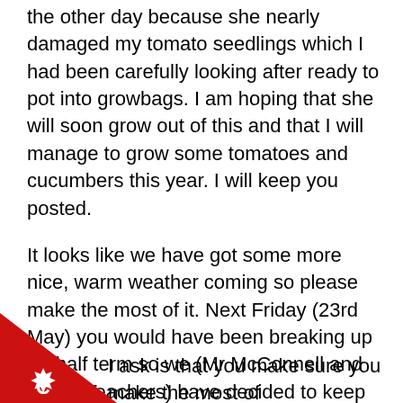the other day because she nearly damaged my tomato seedlings which I had been carefully looking after ready to pot into growbags. I am hoping that she will soon grow out of this and that I will manage to grow some tomatoes and cucumbers this year. I will keep you posted.
It looks like we have got some more nice, warm weather coming so please make the most of it. Next Friday (23rd May) you would have been breaking up for half term so we (Mr McConnell and all the Teachers) have decided to keep to this holiday and stop home learning tasks for two weeks. Horray!!! I hear you shout.
I ask is that you make sure you make the most of doors during this time and doing the things
[Figure (illustration): Red triangle in the bottom-left corner with a white star/cog emblem and the letter C inside it]